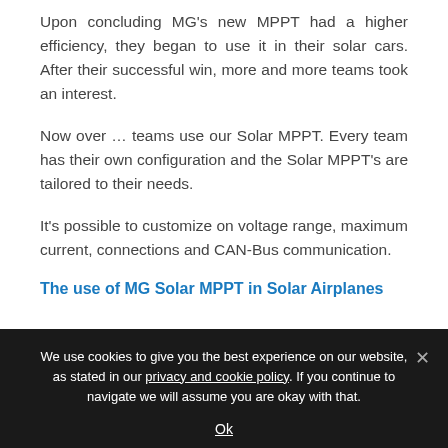Upon concluding MG's new MPPT had a higher efficiency, they began to use it in their solar cars. After their successful win, more and more teams took an interest.
Now over ... teams use our Solar MPPT. Every team has their own configuration and the Solar MPPT's are tailored to their needs.
It's possible to customize on voltage range, maximum current, connections and CAN-Bus communication.
The use of MG Solar MPPT in Solar Airplanes
We use cookies to give you the best experience on our website, as stated in our privacy and cookie policy. If you continue to navigate we will assume you are okay with that.